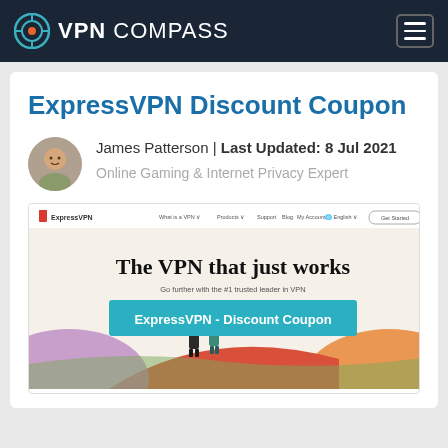VPN COMPASS
ExpressVPN Discount Coupon
James Patterson | Last Updated: 8 Jul 2021
Online Gaming & Internet Privacy Expert
[Figure (screenshot): ExpressVPN website screenshot showing 'The VPN that just works' headline with 'ExpressVPN - Discount Coupon' banner overlay, two illustrated people walking on colorful hills background.]